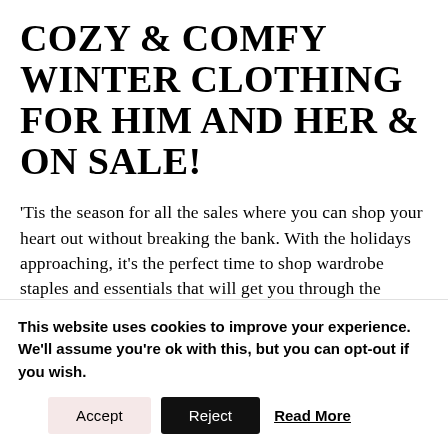COZY & COMFY WINTER CLOTHING FOR HIM AND HER & ON SALE!
'Tis the season for all the sales where you can shop your heart out without breaking the bank. With the holidays approaching, it's the perfect time to shop wardrobe staples and essentials that will get you through the season. So today, I'm sharing 12 winter clothing essentials for him and
This website uses cookies to improve your experience. We'll assume you're ok with this, but you can opt-out if you wish.